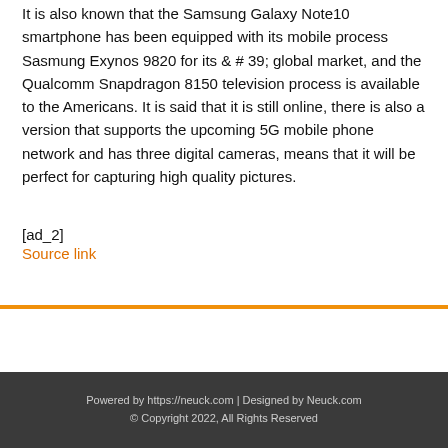It is also known that the Samsung Galaxy Note10 smartphone has been equipped with its mobile process Sasmung Exynos 9820 for its & # 39; global market, and the Qualcomm Snapdragon 8150 television process is available to the Americans. It is said that it is still online, there is also a version that supports the upcoming 5G mobile phone network and has three digital cameras, means that it will be perfect for capturing high quality pictures.
[ad_2]
Source link
Powered by https://neuck.com | Designed by Neuck.com © Copyright 2022, All Rights Reserved